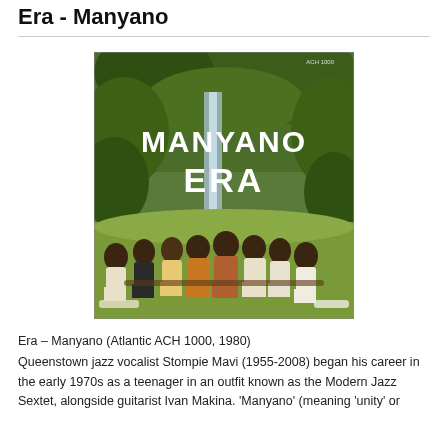Era - Manyano
[Figure (photo): Album cover for 'Manyano Era' showing the text 'MANYANO ERA' in white bold letters over a group photo of musicians seated outdoors in front of lush green vegetation with a waterfall in the background.]
Era – Manyano (Atlantic ACH 1000, 1980)
Queenstown jazz vocalist Stompie Mavi (1955-2008) began his career in the early 1970s as a teenager in an outfit known as the Modern Jazz Sextet, alongside guitarist Ivan Makina. 'Manyano' (meaning 'unity' or